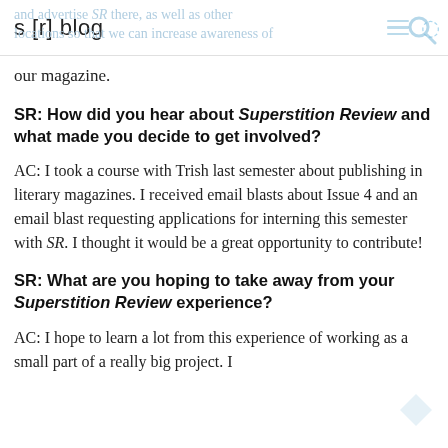s [r] blog
our magazine.
SR: How did you hear about Superstition Review and what made you decide to get involved?
AC: I took a course with Trish last semester about publishing in literary magazines. I received email blasts about Issue 4 and an email blast requesting applications for interning this semester with SR. I thought it would be a great opportunity to contribute!
SR: What are you hoping to take away from your Superstition Review experience?
AC: I hope to learn a lot from this experience of working as a small part of a really big project. I